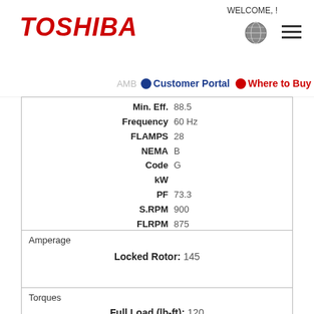TOSHIBA — WELCOME, !
AMB | Customer Portal | Where to Buy
| Field | Value |
| --- | --- |
| Min. Eff. | 88.5 |
| Frequency | 60 Hz |
| FLAMPS | 28 |
| NEMA | B |
| Code | G |
| kW |  |
| PF | 73.3 |
| S.RPM | 900 |
| FLRPM | 875 |
| Insul Class | F |
| Duty | CONT |
| Serial No. |  |
Amperage
Locked Rotor: 145
Torques
Full Load (lb-ft): 120